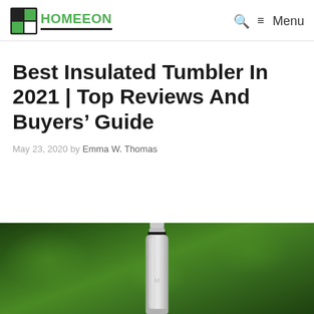HOMEEON — Menu
Best Insulated Tumbler In 2021 | Top Reviews And Buyers' Guide
May 23, 2020 by Emma W. Thomas
[Figure (photo): Photograph of a stainless steel insulated water bottle/tumbler against a blurred green forest background]